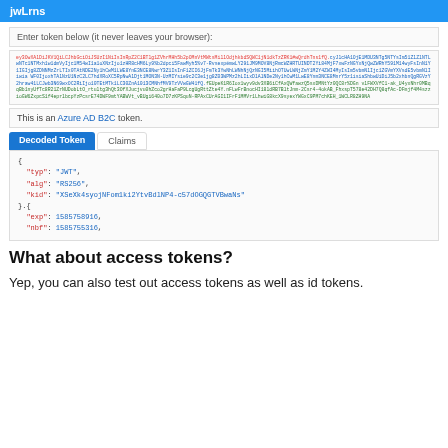jwLrns
Enter token below (it never leaves your browser):
[Figure (screenshot): A JWT token displayed in three colored sections: red header, blue payload, green signature, in a monospace font within a bordered box.]
This is an Azure AD B2C token.
[Figure (screenshot): Decoded Token panel showing JSON with typ: JWT, alg: RS256, kid: XSeXk4syojNFom1ki2YtvBdlNP4-c57dOGQGTVBwaNs, exp: 1585758916, nbf: 1585755316]
What about access tokens?
Yep, you can also test out access tokens as well as id tokens.